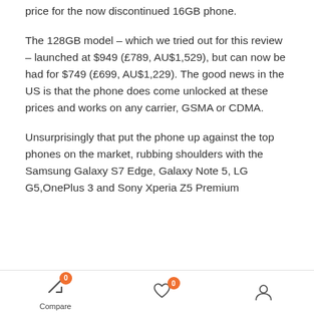price for the now discontinued 16GB phone.
The 128GB model – which we tried out for this review – launched at $949 (£789, AU$1,529), but can now be had for $749 (£699, AU$1,229). The good news in the US is that the phone does come unlocked at these prices and works on any carrier, GSMA or CDMA.
Unsurprisingly that put the phone up against the top phones on the market, rubbing shoulders with the Samsung Galaxy S7 Edge, Galaxy Note 5, LG G5,OnePlus 3 and Sony Xperia Z5 Premium